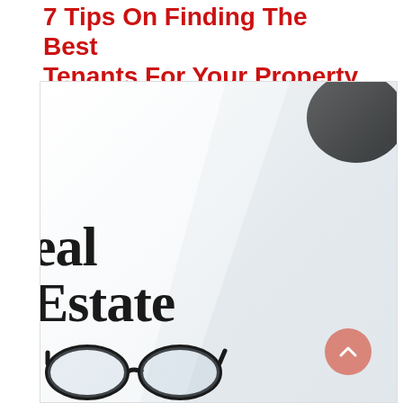7 Tips On Finding The Best Tenants For Your Property
Posted on 28/07/2022 10:48 AM | by NaijaHouses
[Figure (photo): A newspaper with 'Real Estate' printed on it in large bold serif font, with a coffee cup in the top right corner and black-rimmed glasses in the bottom left, on a white background.]